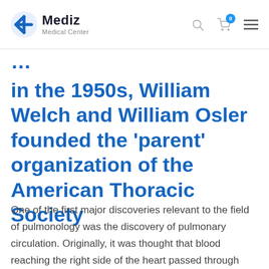Mediz Medical Center
…in the 1950s, William Welch and William Osler founded the 'parent' organization of the American Thoracic Society
One of the first major discoveries relevant to the field of pulmonology was the discovery of pulmonary circulation. Originally, it was thought that blood reaching the right side of the heart passed through small 'pores' in the septum into the left side to be oxygenated, as theorized by Galen; however, the discovery of pulmonary circulation disproves this theory, which had previously been accepted since the 2nd century. Thirteenth century anatomist and physiologist Ibn…